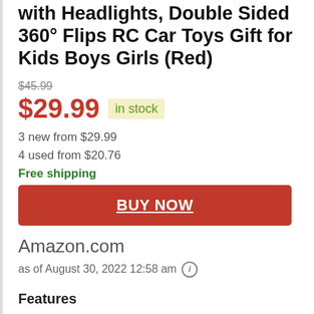with Headlights, Double Sided 360° Flips RC Car Toys Gift for Kids Boys Girls (Red)
$45.99
$29.99  in stock
3 new from $29.99
4 used from $20.76
Free shipping
BUY NOW
Amazon.com
as of August 30, 2022 12:58 am
Features